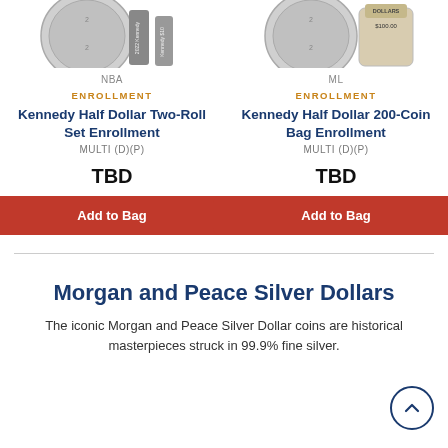[Figure (photo): Kennedy Half Dollar coin and two-roll set product image]
NBA
ENROLLMENT
Kennedy Half Dollar Two-Roll Set Enrollment
MULTI (D)(P)
TBD
Add to Bag
[Figure (photo): Kennedy Half Dollar coin and 200-coin bag product image]
ML
ENROLLMENT
Kennedy Half Dollar 200-Coin Bag Enrollment
MULTI (D)(P)
TBD
Add to Bag
Morgan and Peace Silver Dollars
The iconic Morgan and Peace Silver Dollar coins are historical masterpieces struck in 99.9% fine silver.